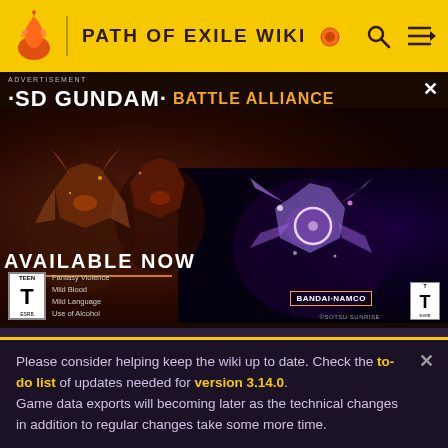PATH OF EXILE WIKI
[Figure (screenshot): SD Gundam Battle Alliance game advertisement banner showing mecha robots with 'AVAILABLE NOW' text, ESRB Teen rating, and Bandai Namco branding]
2  Vendor recipe system
3  The Lord's Labyrinth
Please consider helping keep the wiki up to date. Check the to-do list of updates needed for version 3.14.0. Game data exports will becoming later as the technical changes in addition to regular changes take some more time.